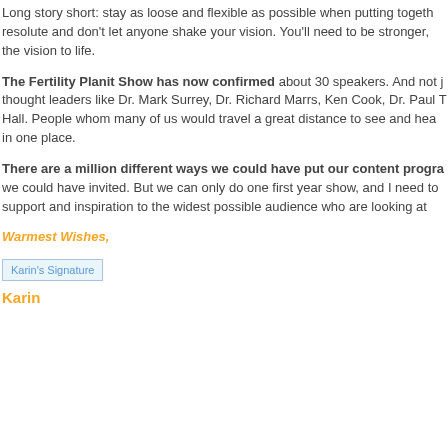Long story short: stay as loose and flexible as possible when putting together resolute and don't let anyone shake your vision. You'll need to be stronger, the vision to life.
The Fertility Planit Show has now confirmed about 30 speakers. And not just thought leaders like Dr. Mark Surrey, Dr. Richard Marrs, Ken Cook, Dr. Paul T Hall. People whom many of us would travel a great distance to see and hear in one place.
There are a million different ways we could have put our content program we could have invited. But we can only do one first year show, and I need to support and inspiration to the widest possible audience who are looking at
Warmest Wishes,
[Figure (illustration): Karin's handwritten signature]
Karin